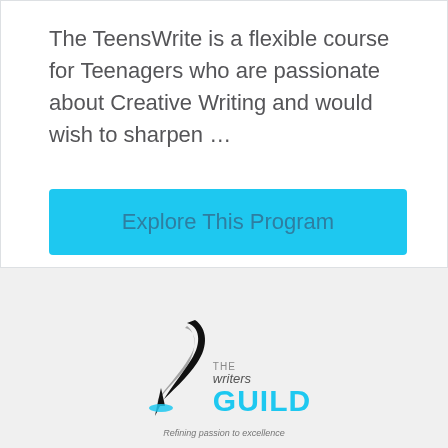The TeensWrite is a flexible course for Teenagers who are passionate about Creative Writing and would wish to sharpen …
Explore This Program
[Figure (logo): The Writers Guild logo with a black quill feather and cyan GUILD text, tagline: Refining passion to excellence]